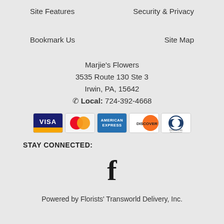Site Features
Security & Privacy
Bookmark Us
Site Map
Marjie's Flowers
3535 Route 130 Ste 3
Irwin, PA, 15642
☎ Local: 724-392-4668
[Figure (logo): Payment method logos: Visa, MasterCard, American Express, Discover, Diners Club International]
STAY CONNECTED:
[Figure (logo): Facebook logo icon (stylized lowercase f in black)]
Powered by Florists' Transworld Delivery, Inc.